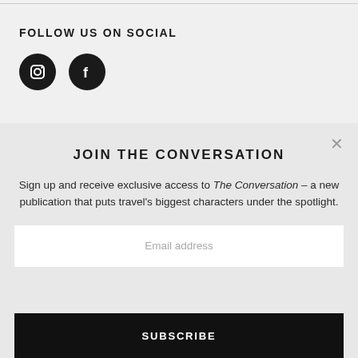FOLLOW US ON SOCIAL
[Figure (illustration): Two circular social media icons (Instagram and Facebook) with white icons on black circular backgrounds]
JOIN THE CONVERSATION
Sign up and receive exclusive access to The Conversation – a new publication that puts travel's biggest characters under the spotlight.
Email address
SUBSCRIBE